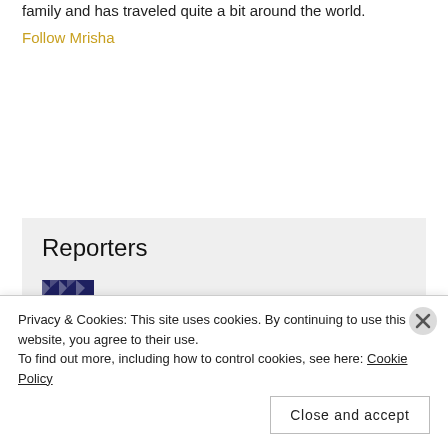family and has traveled quite a bit around the world.
Follow Mrisha
Reporters
[Figure (logo): amberainsworth logo — a small geometric/quilt-pattern icon in navy blue and white next to the text 'amberainsworth']
Privacy & Cookies: This site uses cookies. By continuing to use this website, you agree to their use.
To find out more, including how to control cookies, see here: Cookie Policy
Close and accept